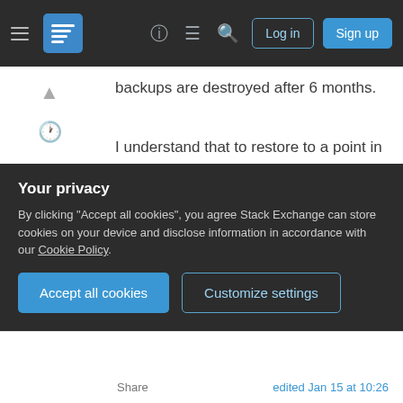Stack Exchange navigation bar with hamburger menu, logo, help, chat, search icons, Log in and Sign up buttons
backups are destroyed after 6 months.
I understand that to restore to a point in time within the last 30 days, I can apply the latest full backup from the Sunday before the point in time recovery required point, followed by applying the log backups and specify a time to restore up to.
However, suppose I have to restore to point in time on the 40th day. There are no log backups as they are deleted after 30 days. I only have the weekly full backups. Is point in time recovery possible using
Your privacy
By clicking "Accept all cookies", you agree Stack Exchange can store cookies on your device and disclose information in accordance with our Cookie Policy.
Accept all cookies
Customize settings
Share | edited Jan 15 at 10:26